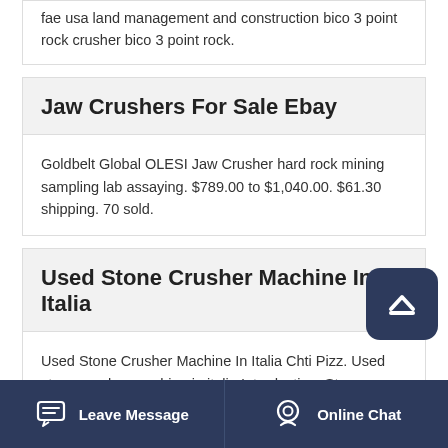fae usa land management and construction bico 3 point rock crusher bico 3 point rock.
Jaw Crushers For Sale Ebay
Goldbelt Global OLESI Jaw Crusher hard rock mining sampling lab assaying. $789.00 to $1,040.00. $61.30 shipping. 70 sold.
Used Stone Crusher Machine In Italia
Used Stone Crusher Machine In Italia Chti Pizz. Used stone crusher machine in italia Introduction. Stone Crushers - FAE. Stone crushers with a max working depth of 25 cm10, and crushing capacity up to 50 cm20 of diameter for tractors.
Leave Message  Online Chat